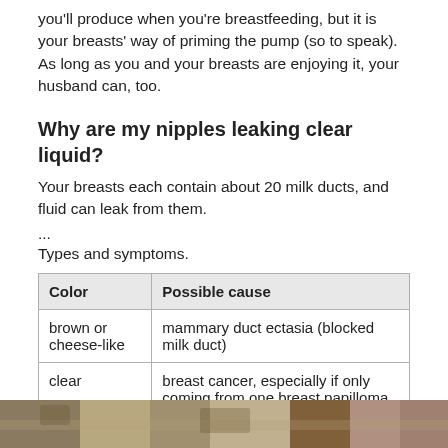you'll produce when you're breastfeeding, but it is your breasts' way of priming the pump (so to speak). As long as you and your breasts are enjoying it, your husband can, too.
Why are my nipples leaking clear liquid?
Your breasts each contain about 20 milk ducts, and fluid can leak from them.
...
Types and symptoms.
| Color | Possible cause |
| --- | --- |
| brown or cheese-like | mammary duct ectasia (blocked milk duct) |
| clear | breast cancer, especially if only coming from one breast papilloma |
| bloody | papilloma breast cancer |
[Figure (photo): A cropped photo strip visible at the bottom of the page, showing an outdoor nature scene.]